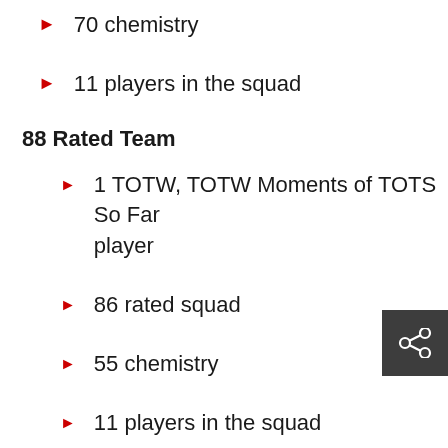70 chemistry
11 players in the squad
88 Rated Team
1 TOTW, TOTW Moments of TOTS So Far player
86 rated squad
55 chemistry
11 players in the squad